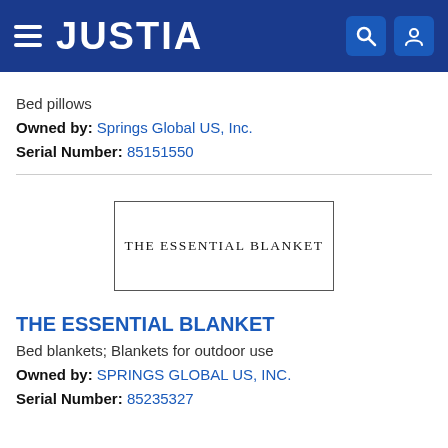JUSTIA
Bed pillows
Owned by: Springs Global US, Inc.
Serial Number: 85151550
[Figure (illustration): Trademark image showing text 'THE ESSENTIAL BLANKET' inside a rectangular border]
THE ESSENTIAL BLANKET
Bed blankets; Blankets for outdoor use
Owned by: SPRINGS GLOBAL US, INC.
Serial Number: 85235327